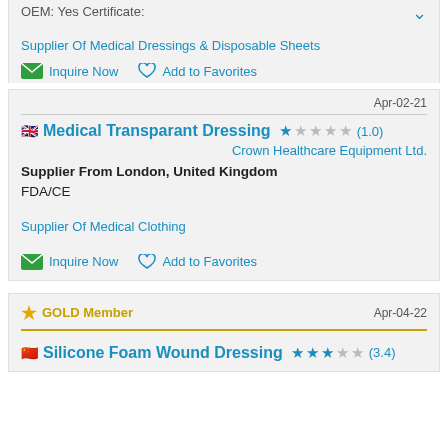OEM: Yes Certificate:
Supplier Of Medical Dressings & Disposable Sheets
Inquire Now   Add to Favorites
Apr-02-21
Medical Transparant Dressing  ★☆☆☆☆ (1.0)
Crown Healthcare Equipment Ltd.
Supplier From London, United Kingdom
FDA/CE
Supplier Of Medical Clothing
Inquire Now   Add to Favorites
GOLD Member   Apr-04-22
Silicone Foam Wound Dressing  ★★★☆☆ (3.4)